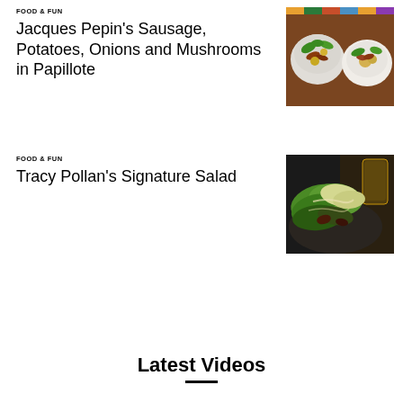FOOD & FUN
Jacques Pepin's Sausage, Potatoes, Onions and Mushrooms in Papillote
[Figure (photo): Top-down view of two bowls with sausage, potatoes, onions and mushrooms garnished with herbs on a wooden surface]
FOOD & FUN
Tracy Pollan's Signature Salad
[Figure (photo): Close-up of a green salad with lettuce and dressing on a dark plate]
Latest Videos